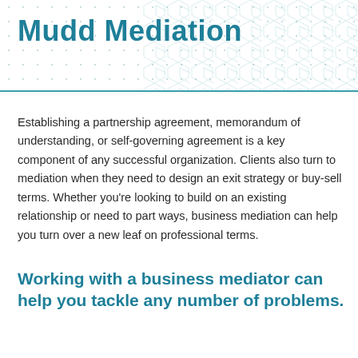Mudd Mediation
Establishing a partnership agreement, memorandum of understanding, or self-governing agreement is a key component of any successful organization. Clients also turn to mediation when they need to design an exit strategy or buy-sell terms. Whether you're looking to build on an existing relationship or need to part ways, business mediation can help you turn over a new leaf on professional terms.
Working with a business mediator can help you tackle any number of problems.